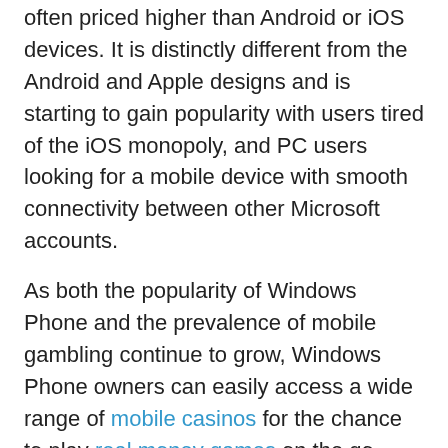often priced higher than Android or iOS devices. It is distinctly different from the Android and Apple designs and is starting to gain popularity with users tired of the iOS monopoly, and PC users looking for a mobile device with smooth connectivity between other Microsoft accounts.
As both the popularity of Windows Phone and the prevalence of mobile gambling continue to grow, Windows Phone owners can easily access a wide range of mobile casinos for the chance to play real money games on the go.
How to play real money casino games on a Windows Phone
Whether you are experienced with playing at a desktop casino or not, playing portable games on your mobile is easy as pie. Using your Windows Phone: